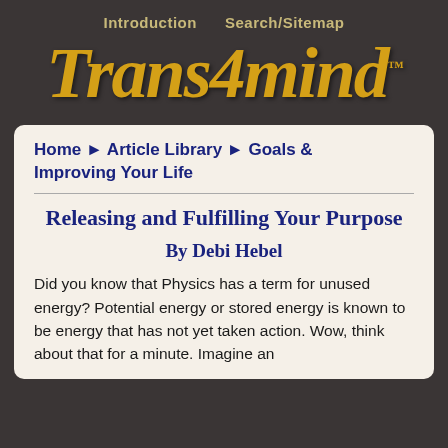Introduction    Search/Sitemap
Trans4mind™
Home ► Article Library ► Goals & Improving Your Life
Releasing and Fulfilling Your Purpose
By Debi Hebel
Did you know that Physics has a term for unused energy? Potential energy or stored energy is known to be energy that has not yet taken action. Wow, think about that for a minute. Imagine an